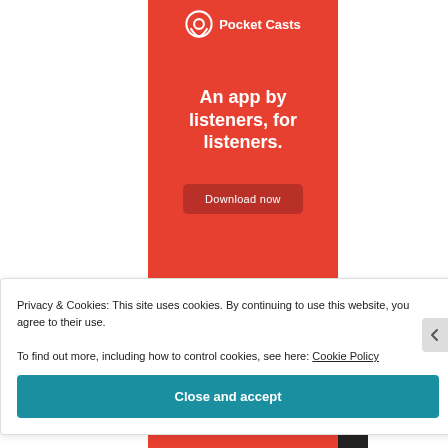[Figure (screenshot): Pocket Casts app advertisement banner with red background, logo, tagline 'An app by listeners, for listeners.' and a 'Download now' button]
Privacy & Cookies: This site uses cookies. By continuing to use this website, you agree to their use.
To find out more, including how to control cookies, see here: Cookie Policy
Close and accept